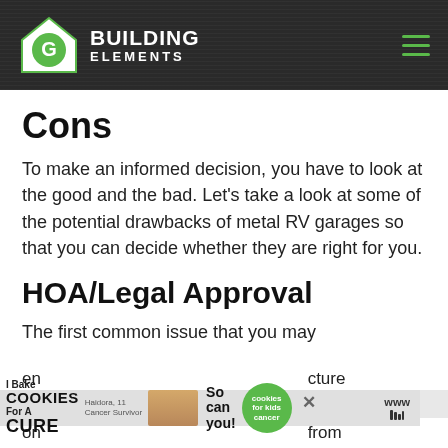Building Elements
Cons
To make an informed decision, you have to look at the good and the bad. Let's take a look at some of the potential drawbacks of metal RV garages so that you can decide whether they are right for you.
HOA/Legal Approval
The first common issue that you may encounter when building any structure on...